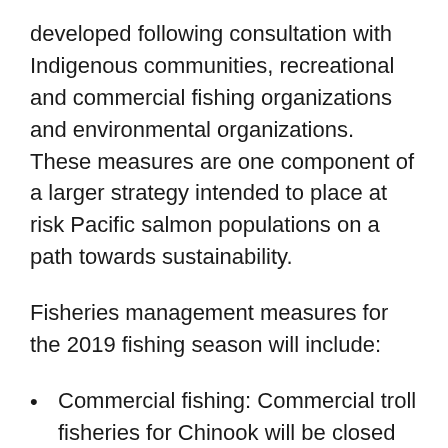developed following consultation with Indigenous communities, recreational and commercial fishing organizations and environmental organizations. These measures are one component of a larger strategy intended to place at risk Pacific salmon populations on a path towards sustainability.
Fisheries management measures for the 2019 fishing season will include:
Commercial fishing: Commercial troll fisheries for Chinook will be closed until